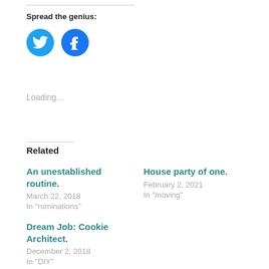Spread the genius:
[Figure (illustration): Twitter and Facebook social share buttons as blue circles with white icons]
Loading...
Related
An unestablished routine.
March 22, 2018
In "ruminations"
House party of one.
February 2, 2021
In "moving"
Dream Job: Cookie Architect.
December 2, 2018
In "DIY"